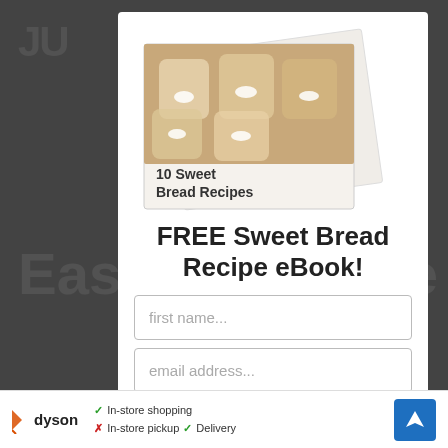[Figure (screenshot): Modal popup overlay on a food blog page showing a free ebook offer for '10 Sweet Bread Recipes']
FREE Sweet Bread Recipe eBook!
first name...
email address...
[Figure (infographic): Ad bar at bottom: Dyson logo, In-store shopping (checkmark), In-store pickup (X), Delivery (checkmark), navigation arrow icon]